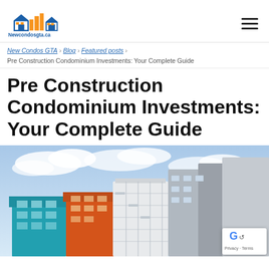[Figure (logo): Newcondosgta.ca logo with house/building icon in blue and orange]
New Condos GTA › Blog › Featured posts › Pre Construction Condominium Investments: Your Complete Guide
Pre Construction Condominium Investments: Your Complete Guide
[Figure (photo): Colourful modern condominium buildings against a blue cloudy sky]